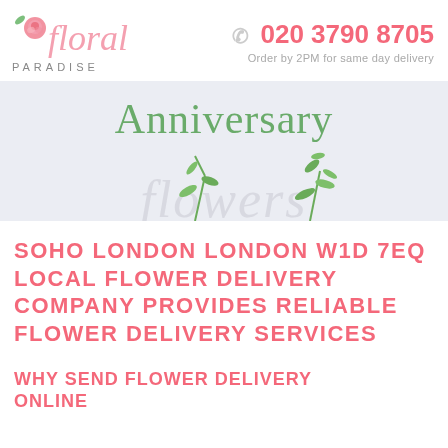[Figure (logo): Floral Paradise logo with pink script text and rose illustration, with 'PARADISE' in grey capitals below]
020 3790 8705
Order by 2PM for same day delivery
[Figure (illustration): Anniversary flowers banner with green text 'Anniversary' over light blue-grey background, with 'flowers' in pale script and floral plant decorations at the bottom]
SOHO LONDON LONDON W1D 7EQ LOCAL FLOWER DELIVERY COMPANY PROVIDES RELIABLE FLOWER DELIVERY SERVICES
WHY SEND FLOWER DELIVERY ONLINE